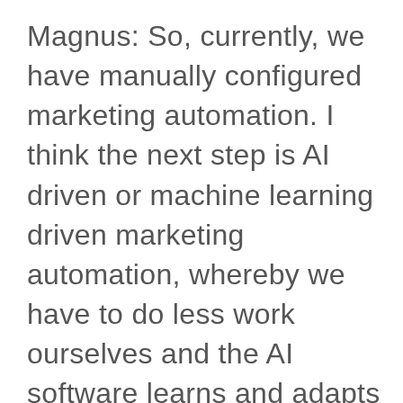Magnus: So, currently, we have manually configured marketing automation. I think the next step is AI driven or machine learning driven marketing automation, whereby we have to do less work ourselves and the AI software learns and adapts automatically over time. So we can take one or two examples of how that could be done in practice. So in marketing automation, there is a concept called